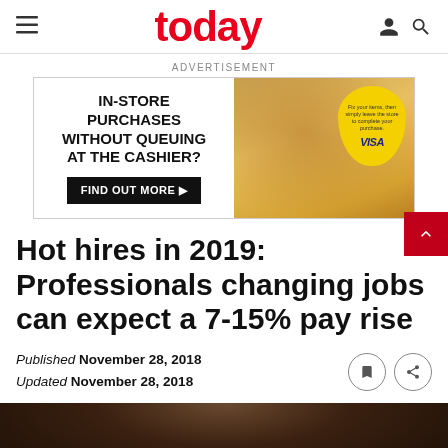today
ADVERTISEMENT
[Figure (infographic): Advertisement banner: IN-STORE PURCHASES WITHOUT QUEUING AT THE CASHIER? FIND OUT MORE ▶ — with Visa branding and a yellow teardrop badge]
Hot hires in 2019: Professionals changing jobs can expect a 7-15% pay rise
Published November 28, 2018
Updated November 28, 2018
[Figure (photo): Partial photo of a person in a suit, showing lower face/neck area against dark background]